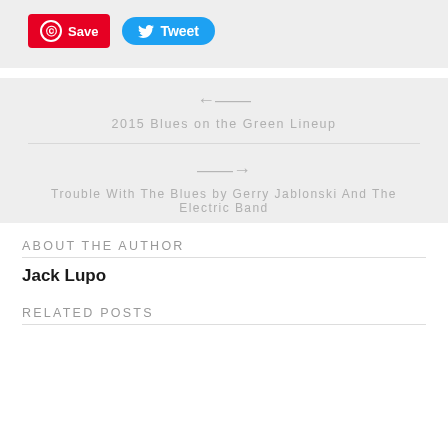[Figure (screenshot): Social share buttons: Pinterest Save button (red) and Twitter Tweet button (blue)]
← 2015 Blues on the Green Lineup
→ Trouble With The Blues by Gerry Jablonski And The Electric Band
ABOUT THE AUTHOR
Jack Lupo
RELATED POSTS